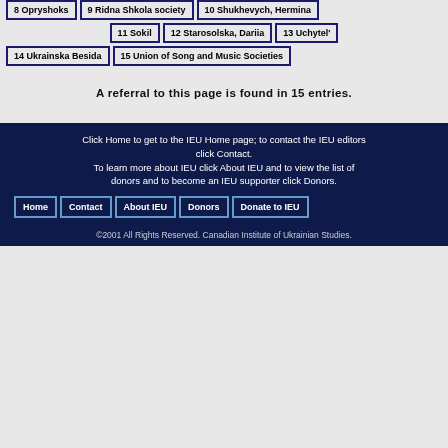8 Opryshoks
9 Ridna Shkola society
10 Shukhevych, Hermina
11 Sokil
12 Starosolska, Dariia
13 Uchytel'
14 Ukrainska Besida
15 Union of Song and Music Societies
A referral to this page is found in 15 entries.
Click Home to get to the IEU Home page; to contact the IEU editors click Contact. To learn more about IEU click About IEU and to view the list of donors and to become an IEU supporter click Donors.
Home
Contact
About IEU
Donors
Donate to IEU
©2001 All Rights Reserved. Canadian Institute of Ukrainian Studies.